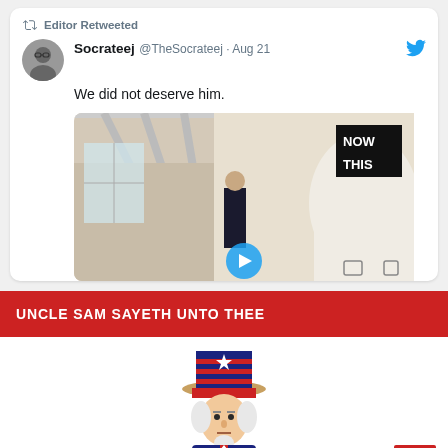Editor Retweeted
Socrateej @TheSocrateej · Aug 21
We did not deserve him.
[Figure (screenshot): Embedded tweet image showing an indoor video still with a 'NOW THIS' logo in top right corner, showing a figure in a hallway]
UNCLE SAM SAYETH UNTO THEE
[Figure (illustration): Uncle Sam pointing figure illustration, classic patriotic American image]